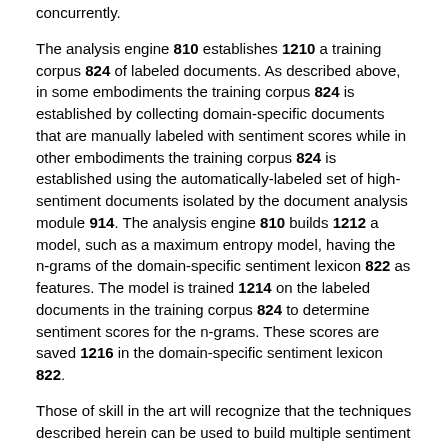concurrently.
The analysis engine 810 establishes 1210 a training corpus 824 of labeled documents. As described above, in some embodiments the training corpus 824 is established by collecting domain-specific documents that are manually labeled with sentiment scores while in other embodiments the training corpus 824 is established using the automatically-labeled set of high-sentiment documents isolated by the document analysis module 914. The analysis engine 810 builds 1212 a model, such as a maximum entropy model, having the n-grams of the domain-specific sentiment lexicon 822 as features. The model is trained 1214 on the labeled documents in the training corpus 824 to determine sentiment scores for the n-grams. These scores are saved 1216 in the domain-specific sentiment lexicon 822.
Those of skill in the art will recognize that the techniques described herein can be used to build multiple sentiment classifiers for documents in different domains. To this end, some embodiments have multiple domain-specific lexicons, domain-specific corpora, and training corpora. This description refers to a single domain-specific